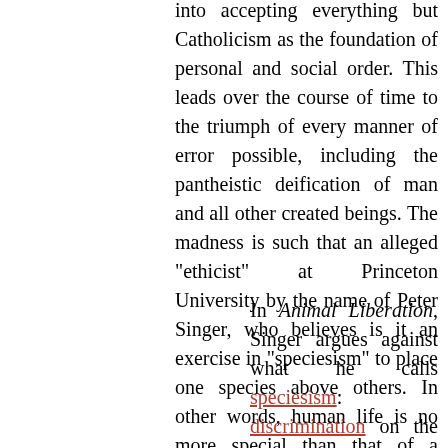into accepting everything but Catholicism as the foundation of personal and social order. This leads over the course of time to the triumph of every manner of error possible, including the pantheistic deification of man and all other created beings. The madness is such that an alleged "ethicist" at Princeton University by the name of Peter Singer, who believes is it an exercise in "speciesism" to place one species above others. In other words, human life is no more special than that of a baboon's:
In Animal Liberation, Singer argues against what he calls speciesism: discrimination on the grounds that a being belongs to a certain species. He holds the interests of all beings capable of suffering to be worthy